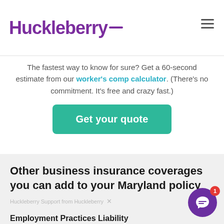Huckleberry
The fastest way to know for sure? Get a 60-second estimate from our worker's comp calculator. (There's no commitment. It's free and crazy fast.)
Get your quote
Other business insurance coverages you can add to your Maryland policy
Huckleberry Support from Huckleberry
Employment Practices Liability